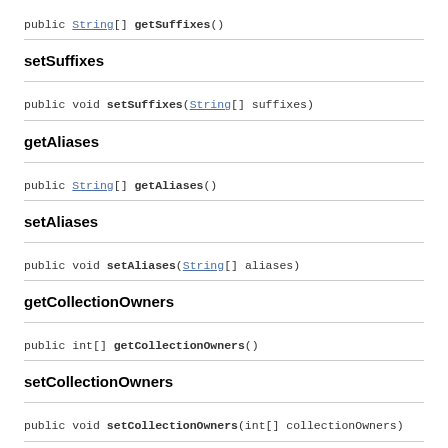public String[] getSuffixes()
setSuffixes
public void setSuffixes(String[] suffixes)
getAliases
public String[] getAliases()
setAliases
public void setAliases(String[] aliases)
getCollectionOwners
public int[] getCollectionOwners()
setCollectionOwners
public void setCollectionOwners(int[] collectionOwners)
getCollectionPersisters
public CollectionPersister[] getCollectionPersisters()